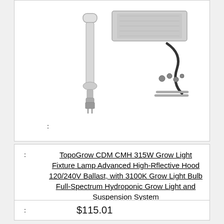[Figure (photo): Product photo of TopoGrow CDM CMH 315W Grow Light Fixture with bulb, ballast, cord, and mounting hardware]
:
: TopoGrow CDM CMH 315W Grow Light Fixture Lamp Advanced High-Rflective Hood 120/240V Ballast, with 3100K Grow Light Bulb Full-Spectrum Hydroponic Grow Light and Suspension System
: $115.01
: Buy On Amazon
: 7